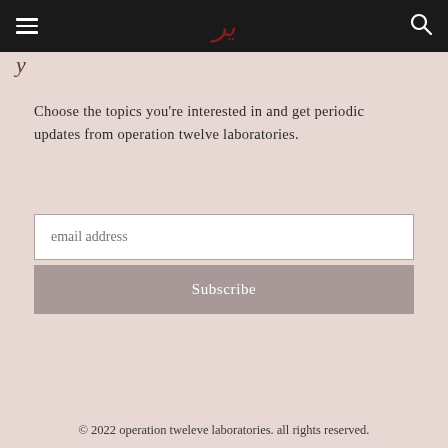Navigation bar with hamburger menu, logo (stylized YY/Arabic numeral in dark red), and search icon on dark background
Choose the topics you're interested in and get periodic updates from operation twelve laboratories.
email address
Subscribe
© 2022 operation tweleve laboratories. all rights reserved.